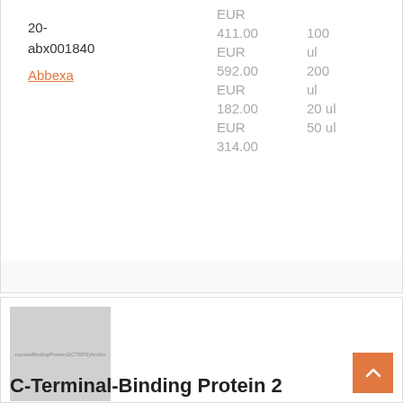| ID | Supplier | Price | Unit |
| --- | --- | --- | --- |
| 20-abx001840 | Abbexa | EUR |  |
|  |  | 411.00 EUR | 100 ul |
|  |  | 592.00 EUR | 200 ul |
|  |  | 182.00 EUR | 20 ul |
|  |  | 314.00 EUR | 50 ul |
[Figure (photo): Placeholder thumbnail image for C-Terminal-Binding Protein 2 antibody product]
C-Terminal-Binding Protein 2